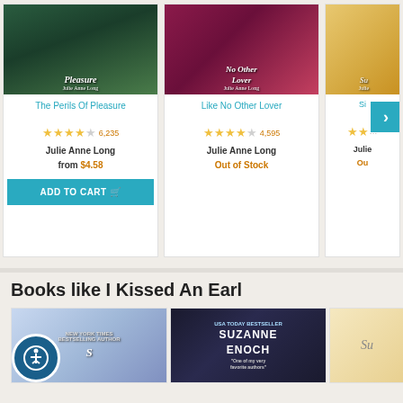[Figure (screenshot): Book product card: The Perils Of Pleasure by Julie Anne Long, cover image, 3.5 star rating with 6,235 reviews, price from $4.58, Add to Cart button]
The Perils Of Pleasure
6,235
Julie Anne Long
from $4.58
[Figure (screenshot): Book product card: Like No Other Lover by Julie Anne Long, cover image, 3.5 star rating with 4,595 reviews, Out of Stock]
Like No Other Lover
4,595
Julie Anne Long
Out of Stock
[Figure (screenshot): Partial book product card, partially visible, showing partial title starting with 'Si', author Julie Anne Long, 2 gold stars, Out of Stock]
Books like I Kissed An Earl
[Figure (screenshot): Partial view of bottom book carousel showing 3 book covers: first with accessibility icon overlay, a romance novel with man cover, Suzanne Enoch book, and a partial cream-colored book cover]